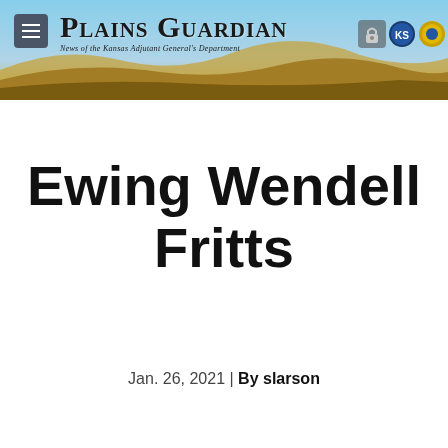Plains Guardian — News of the Kansas Adjutant General's Department
Ewing Wendell Fritts
Jan. 26, 2021 | By slarson